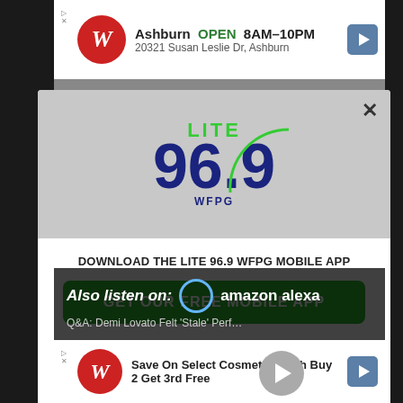[Figure (screenshot): Walgreens advertisement banner at top showing Ashburn location open 8AM-10PM at 20321 Susan Leslie Dr, Ashburn]
[Figure (logo): Lite 96.9 WFPG radio station logo in green and blue with arc graphic]
DOWNLOAD THE LITE 96.9 WFPG MOBILE APP
GET OUR FREE MOBILE APP
Also listen on:  amazon alexa
Q&A: Demi Lovato Felt 'Stale' Perf…
[Figure (screenshot): Walgreens advertisement banner at bottom: Save On Select Cosmetics With Buy 2 Get 3rd Free]